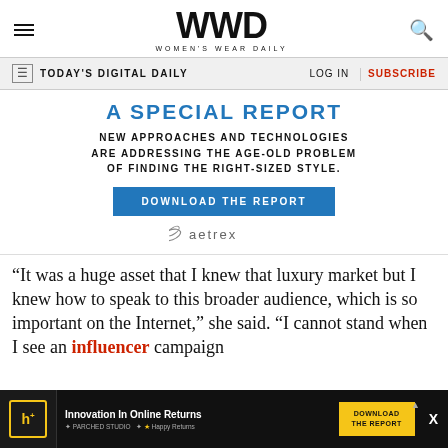WWD — Women's Wear Daily
TODAY'S DIGITAL DAILY   LOG IN   SUBSCRIBE
A SPECIAL REPORT
NEW APPROACHES AND TECHNOLOGIES ARE ADDRESSING THE AGE-OLD PROBLEM OF FINDING THE RIGHT-SIZED STYLE.
DOWNLOAD THE REPORT
[Figure (logo): Aetrex logo with wing icon]
“It was a huge asset that I knew that luxury market but I knew how to speak to this broader audience, which is so important on the Internet,” she said. “I cannot stand when I see an influencer campaign f…
[Figure (infographic): Advertisement banner: Innovation In Online Returns — Download The Report, featuring h+ icon and Happy Returns branding]